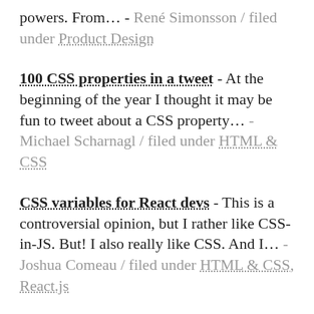powers. From… - René Simonsson / filed under Product Design
100 CSS properties in a tweet - At the beginning of the year I thought it may be fun to tweet about a CSS property… - Michael Scharnagl / filed under HTML & CSS
CSS variables for React devs - This is a controversial opinion, but I rather like CSS-in-JS. But! I also really like CSS. And I… - Joshua Comeau / filed under HTML & CSS, React.js
Static is the new dynamic - I recently tweeted (with some sarcastic humor) about server